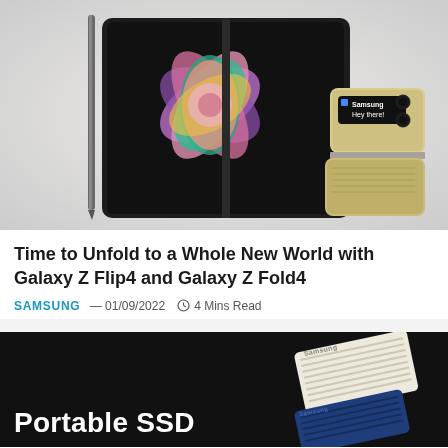[Figure (photo): Samsung Galaxy Z Fold3 open showing colorful flower wallpaper with S Pen stylus beside it, and Galaxy Z Flip3 in cream/gold color folded open showing notification screen]
Time to Unfold to a Whole New World with Galaxy Z Flip4 and Galaxy Z Fold4
SAMSUNG — 01/09/2022   4 Mins Read
[Figure (photo): Samsung Portable SSD promotional image on dark/black background showing white and blue SSD devices]